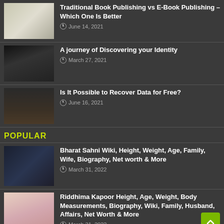Traditional Book Publishing vs E-Book Publishing – Which One Is Better | June 14, 2021
A journey of Discovering your Identity | March 27, 2021
Is It Possible to Recover Data for Free? | June 16, 2021
POPULAR
Bharat Sahni Wiki, Height, Weight, Age, Family, Wife, Biography, Net worth & More | March 31, 2022
Riddhima Kapoor Height, Age, Weight, Body Measurements, Biography, Wiki, Family, Husband, Affairs, Net Worth & More | March 31, 2022